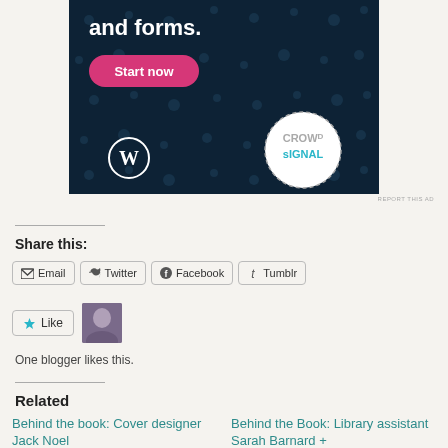[Figure (screenshot): Advertisement banner with dark navy background showing 'and forms.' text, pink 'Start now' button, WordPress logo, and Crowdsignal circular logo with dotted border]
REPORT THIS AD
Share this:
Email  Twitter  Facebook  Tumblr
Like  [avatar]
One blogger likes this.
Related
Behind the book: Cover designer Jack Noel
Behind the Book: Library assistant Sarah Barnard +